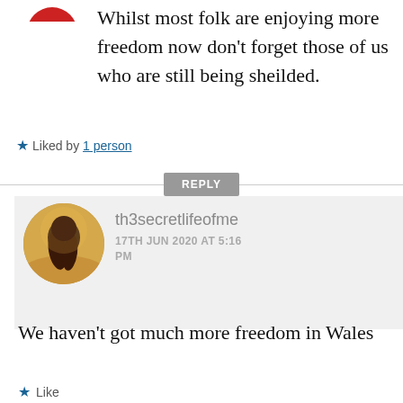Whilst most folk are enjoying more freedom now don’t forget those of us who are still being sheilded.
Liked by 1 person
REPLY
[Figure (photo): Circular avatar photo of a person with long hair seen from behind, golden field background]
th3secretlifeofme
17TH JUN 2020 AT 5:16 PM
We haven’t got much more freedom in Wales
Like